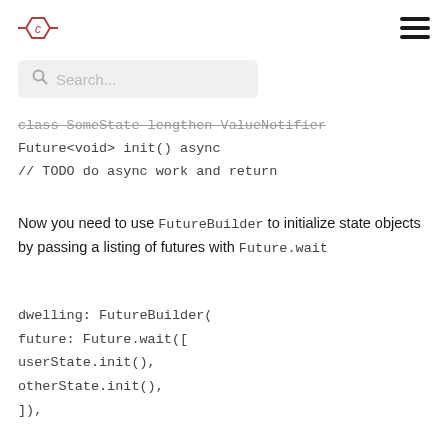C logo | hamburger menu
Search...
class SomeState lengthen ValueNotifier
Future<void> init() async
// TODO do async work and return
Now you need to use FutureBuilder to initialize state objects by passing a listing of futures with Future.wait
dwelling: FutureBuilder(
future: Future.wait([
userState.init(),
otherState.init(),
]),